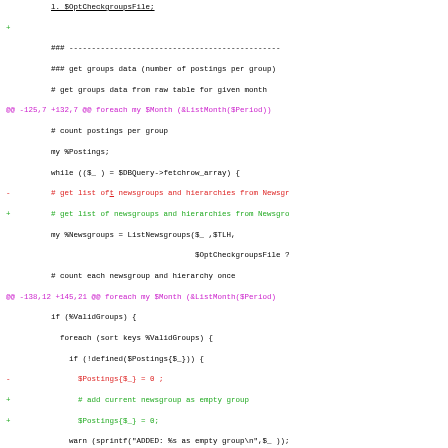[Figure (screenshot): A code diff view showing Perl code changes with green added lines, red removed lines, and magenta diff hunk headers. The code involves newsgroup data retrieval and postings counting logic.]